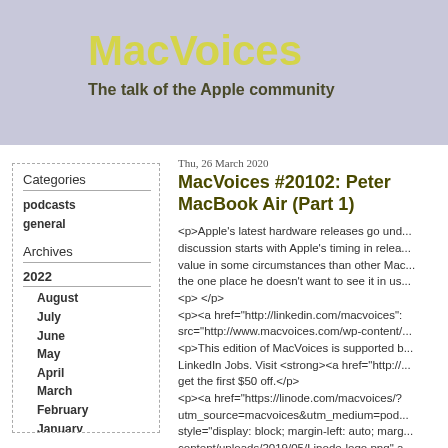MacVoices
The talk of the Apple community
Categories
podcasts
general
Archives
2022
August
July
June
May
April
March
February
January
2021
December
November
Thu, 26 March 2020
MacVoices #20102: Peter MacBook Air (Part 1)
<p>Apple's latest hardware releases go und... discussion starts with Apple's timing in relea... value in some circumstances than other Mac... the one place he doesn't want to see it in us...
<p> </p>
<p><a href="http://linkedin.com/macvoices": src="http://www.macvoices.com/wp-content/...
<p>This edition of MacVoices is supported b... LinkedIn Jobs. Visit <strong><a href="http://... get the first $50 off.</p>
<p><a href="https://linode.com/macvoices/? utm_source=macvoices&utm_medium=pod... style="display: block; margin-left: auto; marg... content/uploads/2019/05/Linode-logo.png" a... MacVoices is supported by <strong><a href=... utm_source=macvoices&utm_medium=pod... performance cloud hosting and virtual serve... href="https://linode.com/macvoices/? utm_source=macvoices&utm_medium=pod... </strong>.</p>